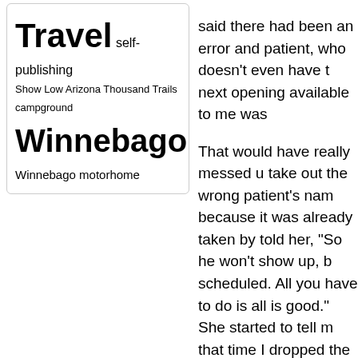Travel self-publishing Show Low Arizona Thousand Trails campground Winnebago Winnebago motorhome
said there had been an error and patient, who doesn't even have the next opening available to me was...
That would have really messed up take out the wrong patient's name because it was already taken by t told her, "So he won't show up, be scheduled. All you have to do is c all is good." She started to tell me that time I dropped the telephone, disconnect button.
I immediately called back, reache didn't want the first lady to think I problem, she'd pass that on, and...
The call ended, and just as I was have to change, the phone rang a lost my call, she started to tell and get it," when suddenly it hit her tha